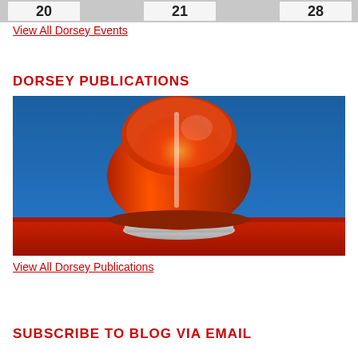[Figure (photo): Partial view of a calendar/scoreboard showing numbers 20, 21, 28 cropped at top]
View All Dorsey Events
DORSEY PUBLICATIONS
[Figure (photo): Close-up photo of a red emergency siren/beacon light mounted on top of a red vehicle against a blue sky]
View All Dorsey Publications
SUBSCRIBE TO BLOG VIA EMAIL